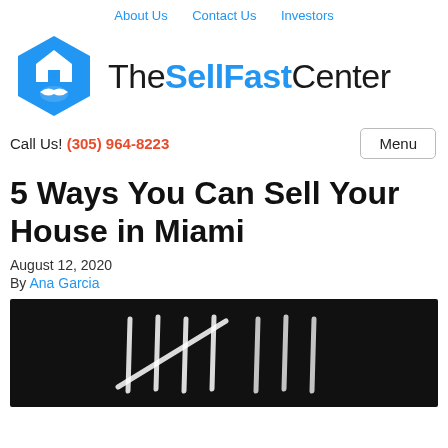About Us   Contact Us   Investors
[Figure (logo): The Sell Fast Center logo: blue hexagon with house and handshake icon, followed by text 'The Sell Fast Center' with 'Sell Fast' in blue bold]
Call Us! (305) 964-8223
5 Ways You Can Sell Your House in Miami
August 12, 2020
By Ana Garcia
[Figure (photo): Black and white photo showing tally marks drawn in white on a dark background]